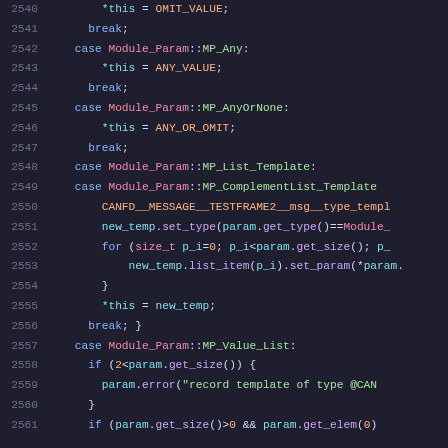[Figure (screenshot): Source code listing in a dark-themed IDE/code viewer showing C++ switch-case statements for Module_Param handling, lines 2540–2561]